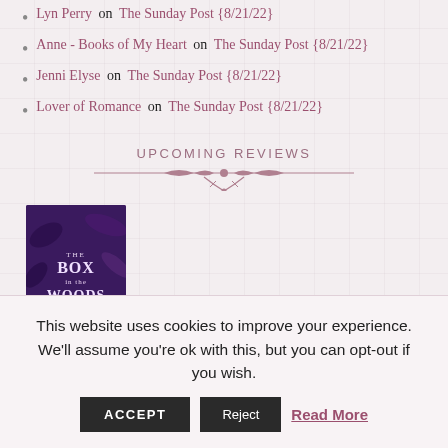Lyn Perry on The Sunday Post {8/21/22}
Anne - Books of My Heart on The Sunday Post {8/21/22}
Jenni Elyse on The Sunday Post {8/21/22}
Lover of Romance on The Sunday Post {8/21/22}
UPCOMING REVIEWS
[Figure (illustration): Book cover for 'The Box in the Woods', purple tones with foliage design]
ARCHIVES:
This website uses cookies to improve your experience. We'll assume you're ok with this, but you can opt-out if you wish.
ACCEPT  Reject  Read More